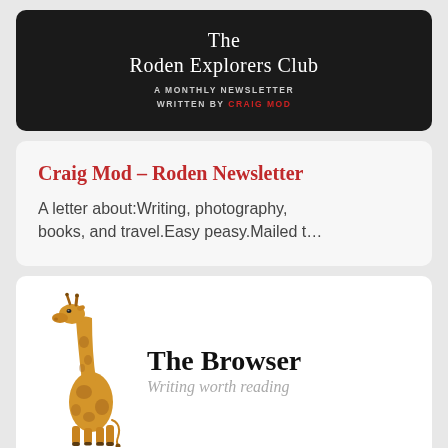The Roden Explorers Club
A MONTHLY NEWSLETTER WRITTEN BY CRAIG MOD
Craig Mod – Roden Newsletter
A letter about:Writing, photography, books, and travel.Easy peasy.Mailed t…
[Figure (logo): The Browser newsletter logo with a giraffe illustration and text 'The Browser – Writing worth reading']